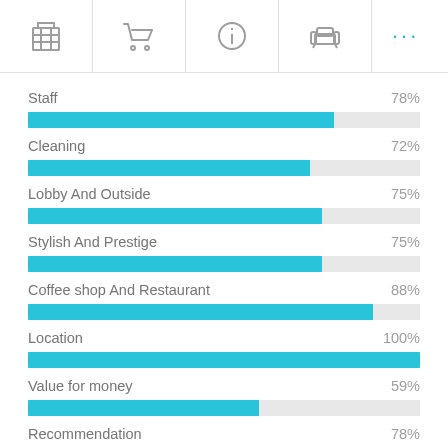[Figure (bar-chart): Hotel ratings by category]